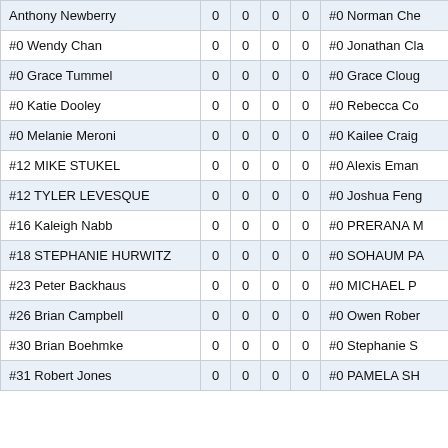| Name (Left) | 0 | 0 | 0 | 0 | Name (Right) |
| --- | --- | --- | --- | --- | --- |
| Anthony Newberry | 0 | 0 | 0 | 0 | #0 Norman Che... |
| #0 Wendy Chan | 0 | 0 | 0 | 0 | #0 Jonathan Cla... |
| #0 Grace Tummel | 0 | 0 | 0 | 0 | #0 Grace Cloug... |
| #0 Katie Dooley | 0 | 0 | 0 | 0 | #0 Rebecca Co... |
| #0 Melanie Meroni | 0 | 0 | 0 | 0 | #0 Kailee Craig... |
| #12 MIKE STUKEL | 0 | 0 | 0 | 0 | #0 Alexis Eman... |
| #12 TYLER LEVESQUE | 0 | 0 | 0 | 0 | #0 Joshua Feng... |
| #16 Kaleigh Nabb | 0 | 0 | 0 | 0 | #0 PRERANA M... |
| #18 STEPHANIE HURWITZ | 0 | 0 | 0 | 0 | #0 SOHAUM PA... |
| #23 Peter Backhaus | 0 | 0 | 0 | 0 | #0 MICHAEL P... |
| #26 Brian Campbell | 0 | 0 | 0 | 0 | #0 Owen Rober... |
| #30 Brian Boehmke | 0 | 0 | 0 | 0 | #0 Stephanie S... |
| #31 Robert Jones | 0 | 0 | 0 | 0 | #0 PAMELA SH... |